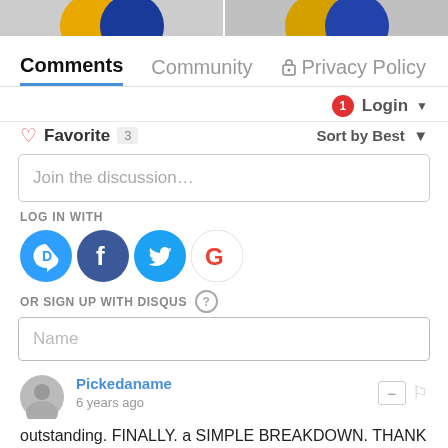[Figure (screenshot): Top cropped image showing partial user avatar circles in gold and blue tones]
Comments  Community  🔒 Privacy Policy
Login ▾ (with notification bubble showing 1)
♡ Favorite  3    Sort by Best ▾
Join the discussion...
LOG IN WITH
[Figure (infographic): Social login icons: Disqus (D), Facebook (f), Twitter bird, Google (G)]
OR SIGN UP WITH DISQUS ?
Name
Pickedaname
6 years ago
outstanding. FINALLY. a SIMPLE BREAKDOWN. THANK